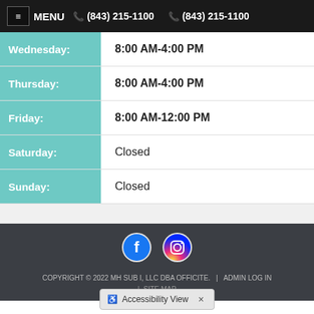≡ MENU ☎ (843) 215-1100  ☎ (843) 215-1100
| Day | Hours |
| --- | --- |
| Wednesday: | 8:00 AM-4:00 PM |
| Thursday: | 8:00 AM-4:00 PM |
| Friday: | 8:00 AM-12:00 PM |
| Saturday: | Closed |
| Sunday: | Closed |
[Figure (logo): Facebook circular icon]
[Figure (logo): Instagram circular icon]
COPYRIGHT © 2022 MH SUB I, LLC DBA OFFICITE.  |  ADMIN LOG IN  |  SITE MAP
♿ Accessibility View  ×